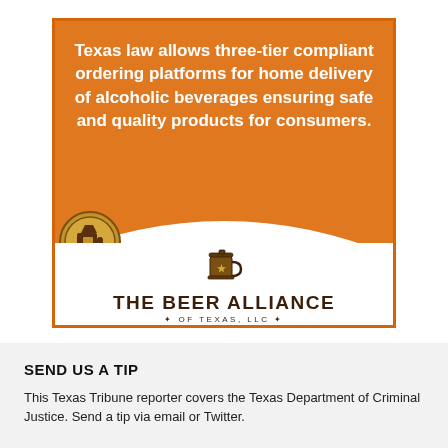[Figure (infographic): Advertisement for The Beer Alliance of Texas, LLC. Orange background with white bold text reading: 'Texas law allows three-tier compliant ordering platforms for home delivery of alcoholic beverages ensuring safe and quality products for consumers.' White curved lower section with a beer mug icon and the text 'THE BEER ALLIANCE * OF TEXAS, LLC *'. A circular coin/badge icon appears in the lower-left corner.]
SEND US A TIP
This Texas Tribune reporter covers the Texas Department of Criminal Justice. Send a tip via email or Twitter.